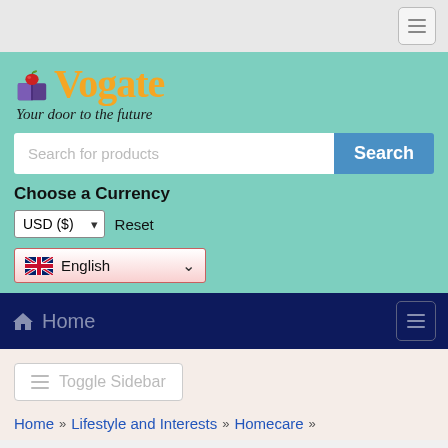[Figure (screenshot): Website header with hamburger menu button on top right]
[Figure (logo): Vogate logo with book and apple icon, orange text, tagline 'Your door to the future']
Search for products
Choose a Currency
USD ($)  Reset
English
Home
Toggle Sidebar
Home > Lifestyle and Interests > Homecare >